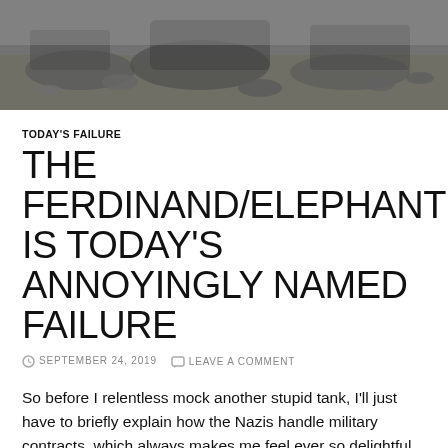[Figure (photo): Black and white photo of destroyed or damaged military equipment, possibly wreckage on a field]
TODAY'S FAILURE
THE FERDINAND/ELEPHANT IS TODAY'S ANNOYINGLY NAMED FAILURE
SEPTEMBER 24, 2019   LEAVE A COMMENT
So before I relentless mock another stupid tank, I'll just have to briefly explain how the Nazis handle military contracts, which always makes me feel ever so delightful, nothing like explain the contractual competition of the Third Reich to make one feel ever so snugly.